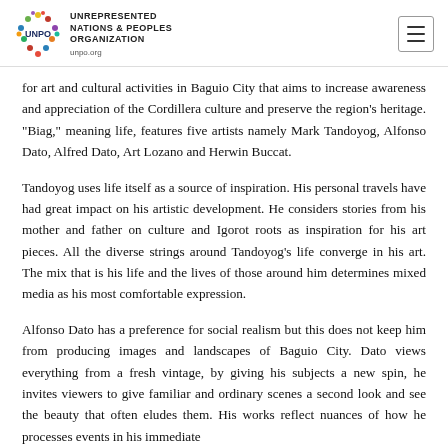UNREPRESENTED NATIONS & PEOPLES ORGANIZATION unpo.org
for art and cultural activities in Baguio City that aims to increase awareness and appreciation of the Cordillera culture and preserve the region’s heritage. “Biag,” meaning life, features five artists namely Mark Tandoyog, Alfonso Dato, Alfred Dato, Art Lozano and Herwin Buccat.
Tandoyog uses life itself as a source of inspiration. His personal travels have had great impact on his artistic development. He considers stories from his mother and father on culture and Igorot roots as inspiration for his art pieces. All the diverse strings around Tandoyog’s life converge in his art. The mix that is his life and the lives of those around him determines mixed media as his most comfortable expression.
Alfonso Dato has a preference for social realism but this does not keep him from producing images and landscapes of Baguio City. Dato views everything from a fresh vintage, by giving his subjects a new spin, he invites viewers to give familiar and ordinary scenes a second look and see the beauty that often eludes them. His works reflect nuances of how he processes events in his immediate